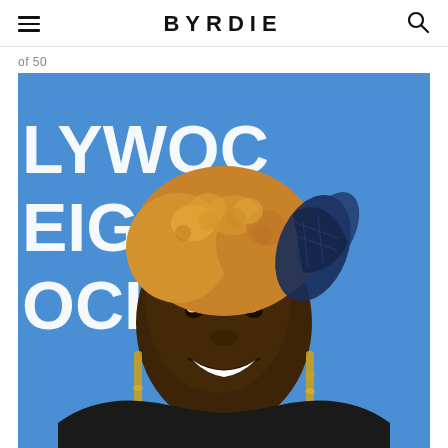BYRDIE
of 50
[Figure (photo): A woman with short curly blonde/golden hair, dark skin, wearing long dangling gold earrings and a dark blue/navy fascinator hair accessory. She is smiling broadly, wearing a black sleeveless top and a thin gold necklace. The background is a blue step-and-repeat banner with white text reading HOLLYWOOD FOREIGN ASSOCIATION (partially visible).]